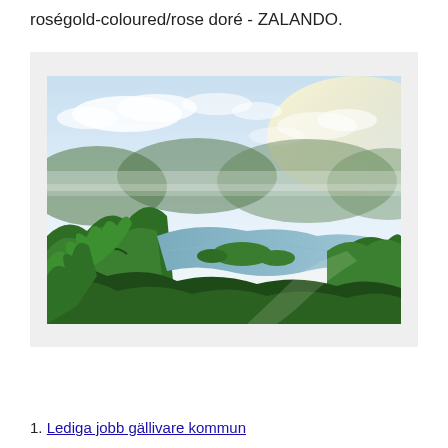roségold-coloured/rose doré - ZALANDO.
[Figure (photo): Aerial landscape photo showing a tropical rainforest with a winding river/lake surrounded by lush green trees and misty mountains in the background under a partly cloudy sky]
1. Lediga jobb gällivare kommun